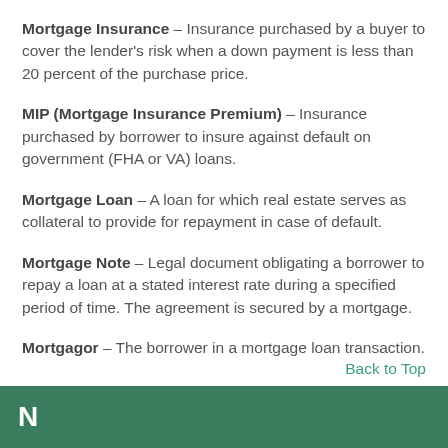Mortgage Insurance – Insurance purchased by a buyer to cover the lender's risk when a down payment is less than 20 percent of the purchase price.
MIP (Mortgage Insurance Premium) – Insurance purchased by borrower to insure against default on government (FHA or VA) loans.
Mortgage Loan – A loan for which real estate serves as collateral to provide for repayment in case of default.
Mortgage Note – Legal document obligating a borrower to repay a loan at a stated interest rate during a specified period of time. The agreement is secured by a mortgage.
Mortgagor – The borrower in a mortgage loan transaction.
Back to Top
N